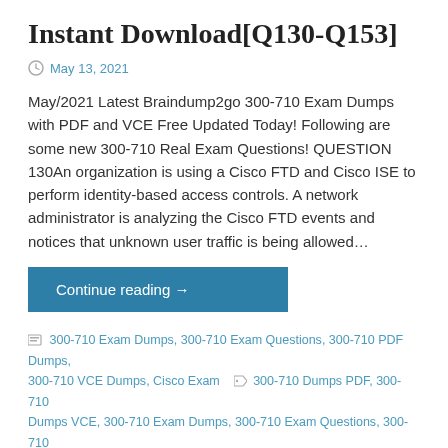Instant Download[Q130-Q153]
May 13, 2021
May/2021 Latest Braindump2go 300-710 Exam Dumps with PDF and VCE Free Updated Today! Following are some new 300-710 Real Exam Questions! QUESTION 130An organization is using a Cisco FTD and Cisco ISE to perform identity-based access controls. A network administrator is analyzing the Cisco FTD events and notices that unknown user traffic is being allowed…
Continue reading →
300-710 Exam Dumps, 300-710 Exam Questions, 300-710 PDF Dumps, 300-710 VCE Dumps, Cisco Exam   300-710 Dumps PDF, 300-710 Dumps VCE, 300-710 Exam Dumps, 300-710 Exam Questions, 300-710 PDF Dumps, 300-710 VCE Dumps, Braindump2go 300-710 Dumps